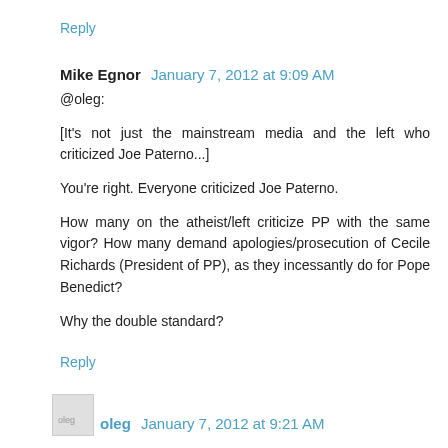Reply
Mike Egnor   January 7, 2012 at 9:09 AM
@oleg:
[It's not just the mainstream media and the left who criticized Joe Paterno...]
You're right. Everyone criticized Joe Paterno.
How many on the atheist/left criticize PP with the same vigor? How many demand apologies/prosecution of Cecile Richards (President of PP), as they incessantly do for Pope Benedict?
Why the double standard?
Reply
oleg   January 7, 2012 at 9:21 AM